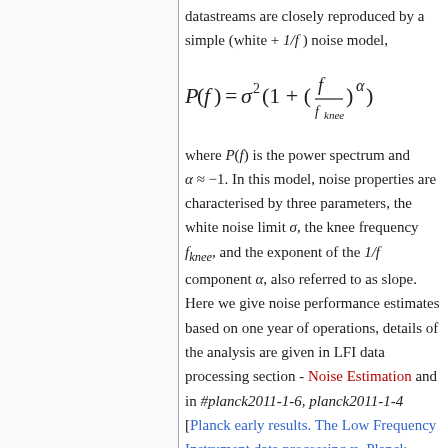datastreams are closely reproduced by a simple (white + 1/f ) noise model,
where P(f) is the power spectrum and α ≈ −1. In this model, noise properties are characterised by three parameters, the white noise limit σ, the knee frequency f_knee, and the exponent of the 1/f component α, also referred to as slope. Here we give noise performance estimates based on one year of operations, details of the analysis are given in LFI data processing section - Noise Estimation and in #planck2011-1-6, planck2011-1-4 [Planck early results. The Low Frequency Instrument data processing, Planck early results. First assessment of the Low Frequency Instrument in-flight performance].